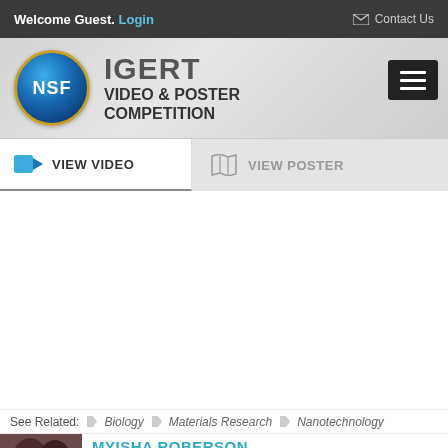Welcome Guest. Login    Contact Us
[Figure (logo): NSF IGERT Video & Poster Competition logo with NSF globe emblem]
VIEW VIDEO
VIEW POSTER
See Related:   Biology   Materials Research   Nanotechnology
MYISHA ROBERSON
Presenter's ICERT